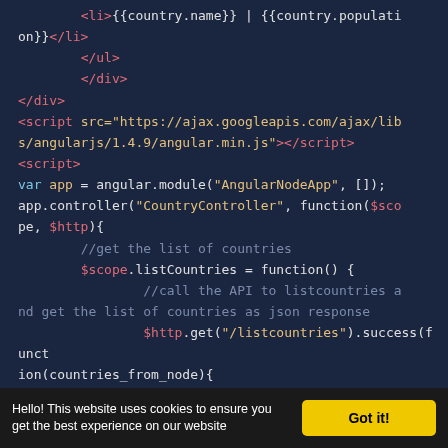[Figure (screenshot): Code editor screenshot showing AngularJS HTML template and JavaScript controller code on a dark navy background. Code includes HTML list template with {{country.name}} and {{country.population}} bindings, a script tag loading AngularJS from Google APIs CDN, and a script block defining an AngularJS module and CountryController with $http.get call to /listcountries endpoint.]
Hello! This website uses cookies to ensure you get the best experience on our website